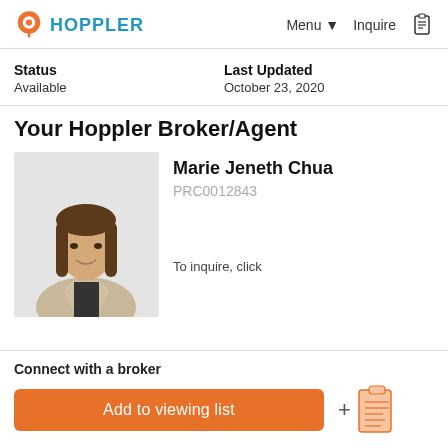HOPPLER — Menu ▾  Inquire
Status
Available
Last Updated
October 23, 2020
Your Hoppler Broker/Agent
[Figure (photo): Photo of broker Marie Jeneth Chua, a young woman with long brown hair wearing a beige blazer, on a light background]
Marie Jeneth Chua
PRC0012843
To inquire, click
Connect with a broker
Add to viewing list